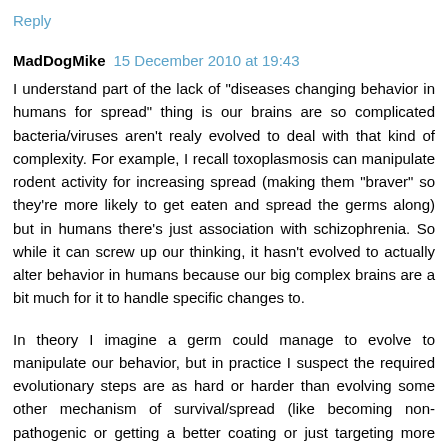Reply
MadDogMike  15 December 2010 at 19:43
I understand part of the lack of "diseases changing behavior in humans for spread" thing is our brains are so complicated bacteria/viruses aren't realy evolved to deal with that kind of complexity. For example, I recall toxoplasmosis can manipulate rodent activity for increasing spread (making them "braver" so they're more likely to get eaten and spread the germs along) but in humans there's just association with schizophrenia. So while it can screw up our thinking, it hasn't evolved to actually alter behavior in humans because our big complex brains are a bit much for it to handle specific changes to.
In theory I imagine a germ could manage to evolve to manipulate our behavior, but in practice I suspect the required evolutionary steps are as hard or harder than evolving some other mechanism of survival/spread (like becoming non-pathogenic or getting a better coating or just targeting more potential hosts) so nothing ever evolves that